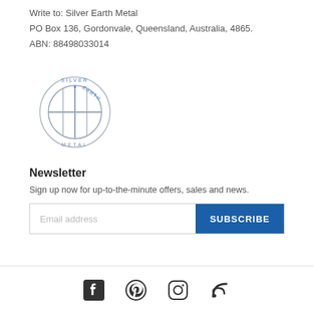Write to: Silver Earth Metal
PO Box 136, Gordonvale, Queensland, Australia, 4865.
ABN: 88498033014
[Figure (logo): Silver Earth Metal circular logo with globe-like icon and text 'SILVER EARTH METAL' around the border]
Newsletter
Sign up now for up-to-the-minute offers, sales and news.
[Figure (infographic): Email address input field with SUBSCRIBE button]
Social media icons: Facebook, Pinterest, Instagram, RSS